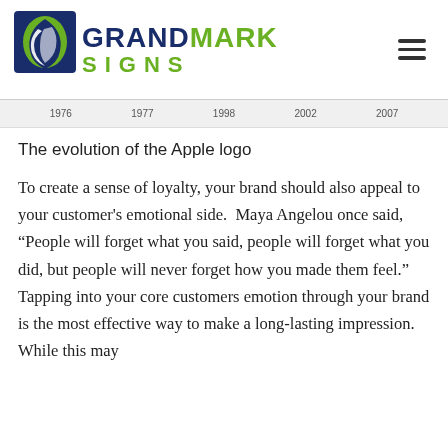GRANDMARK SIGNS
[Figure (illustration): Timeline strip showing Apple logo evolution years: 1976, 1977, 1998, 2002, 2007]
The evolution of the Apple logo
To create a sense of loyalty, your brand should also appeal to your customer’s emotional side.  Maya Angelou once said, “People will forget what you said, people will forget what you did, but people will never forget how you made them feel.” Tapping into your core customers emotion through your brand is the most effective way to make a long-lasting impression. While this may